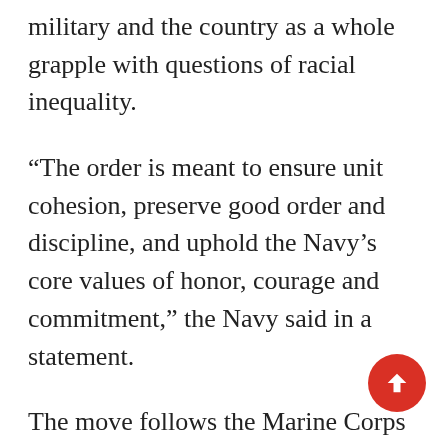military and the country as a whole grapple with questions of racial inequality.
“The order is meant to ensure unit cohesion, preserve good order and discipline, and uphold the Navy’s core values of honor, courage and commitment,” the Navy said in a statement.
The move follows the Marine Corps ordering the removal of the Confederate flag from all its installations, including prohibiting depicting the flag on mugs and car bumpers, and word on Tuesday that Army officials were “open” to the idea of renaming 10 Army bases named for Confederate icons of the